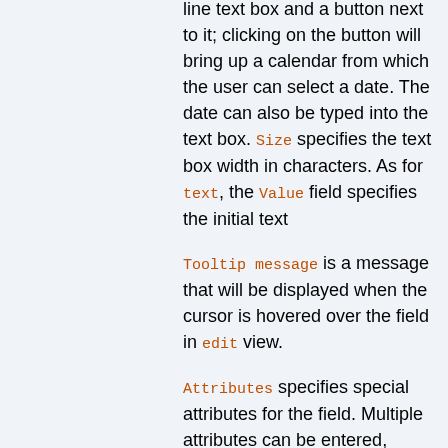Type date specifies a single line text box and a button next to it; clicking on the button will bring up a calendar from which the user can select a date. The date can also be typed into the text box. Size specifies the text box width in characters. As for text, the Value field specifies the initial text
Tooltip message is a message that will be displayed when the cursor is hovered over the field in edit view.
Attributes specifies special attributes for the field. Multiple attributes can be entered, separated by spaces.
An attribute H indicates that this field should not be shown in view mode. However, the field is available for editing